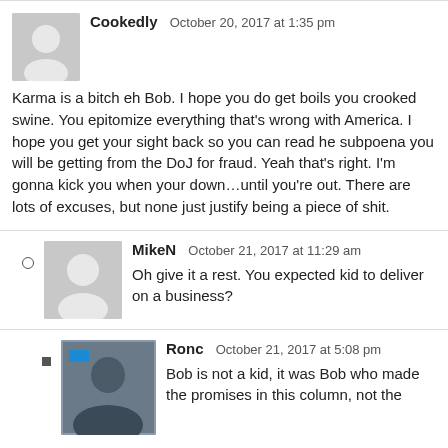Cookedly  October 20, 2017 at 1:35 pm
Karma is a bitch eh Bob. I hope you do get boils you crooked swine. You epitomize everything that's wrong with America. I hope you get your sight back so you can read he subpoena you will be getting from the DoJ for fraud. Yeah that's right. I'm gonna kick you when your down…until you're out. There are lots of excuses, but none just justify being a piece of shit.
MikeN  October 21, 2017 at 11:29 am
Oh give it a rest. You expected kid to deliver on a business?
Ronc  October 21, 2017 at 5:08 pm
Bob is not a kid, it was Bob who made the promises in this column, not the